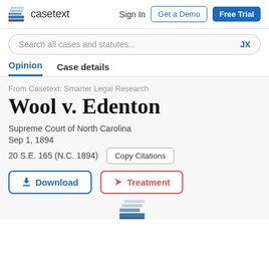casetext   Sign In   Get a Demo   Free Trial
Search all cases and statutes...   JX
Opinion   Case details
From Casetext: Smarter Legal Research
Wool v. Edenton
Supreme Court of North Carolina
Sep 1, 1894
20 S.E. 165 (N.C. 1894)
Download   Treatment